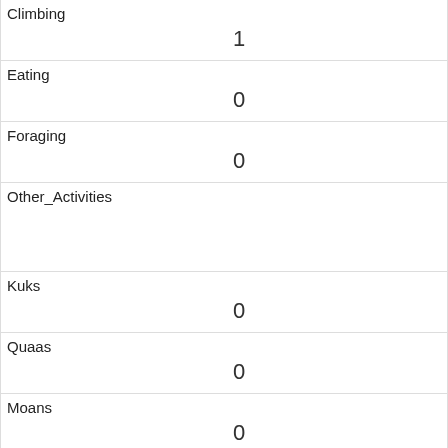| Field | Value |
| --- | --- |
| Climbing | 1 |
| Eating | 0 |
| Foraging | 0 |
| Other_Activities |  |
| Kuks | 0 |
| Quaas | 0 |
| Moans | 0 |
| Tail_flags | 0 |
| Tail_twitches | 0 |
| Approaches | 0 |
| Indifferent |  |